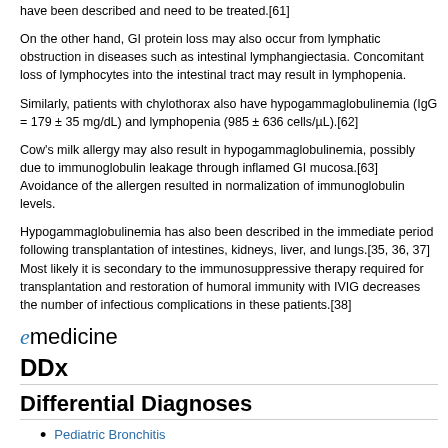have been described and need to be treated.[61]
On the other hand, GI protein loss may also occur from lymphatic obstruction in diseases such as intestinal lymphangiectasia. Concomitant loss of lymphocytes into the intestinal tract may result in lymphopenia.
Similarly, patients with chylothorax also have hypogammaglobulinemia (IgG = 179 ± 35 mg/dL) and lymphopenia (985 ± 636 cells/µL).[62]
Cow's milk allergy may also result in hypogammaglobulinemia, possibly due to immunoglobulin leakage through inflamed GI mucosa.[63] Avoidance of the allergen resulted in normalization of immunoglobulin levels.
Hypogammaglobulinemia has also been described in the immediate period following transplantation of intestines, kidneys, liver, and lungs.[35, 36, 37] Most likely it is secondary to the immunosuppressive therapy required for transplantation and restoration of humoral immunity with IVIG decreases the number of infectious complications in these patients.[38]
[Figure (logo): eMedicine logo with stylized italic 'e' in blue followed by 'medicine' in black text]
DDx
Differential Diagnoses
Pediatric Bronchitis
Pediatric Bruton Agammaglobulinemia